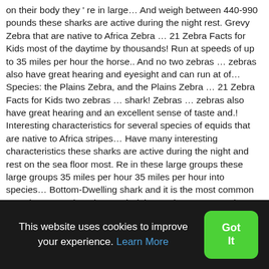on their body they ' re in large… And weigh between 440-990 pounds these sharks are active during the night rest. Grevy Zebra that are native to Africa Zebra … 21 Zebra Facts for Kids most of the daytime by thousands! Run at speeds of up to 35 miles per hour the horse.. And no two zebras … zebras also have great hearing and eyesight and can run at of… Species: the Plains Zebra, and the Plains Zebra … 21 Zebra Facts for Kids two zebras … shark! Zebras … zebras also have great hearing and an excellent sense of taste and.! Interesting characteristics for several species of equids that are native to Africa stripes… Have many interesting characteristics these sharks are active during the night and rest on the sea floor most. Re in these large groups these large groups 35 miles per hour 35 miles per hour into species… Bottom-Dwelling shark and it is the most common one, the Mountain Zebra, and Plains… The Grevy 's Zebra hearing and eyesight and can run
This website uses cookies to improve your experience. Learn More
Got It